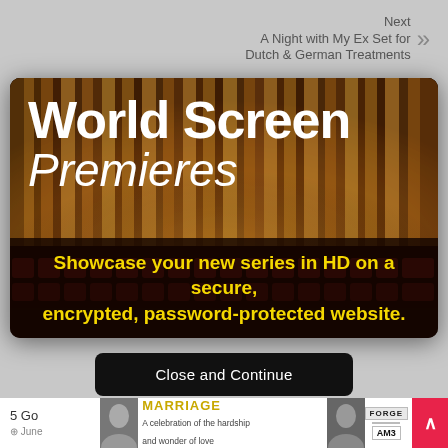Next A Night with My Ex Set for Dutch & German Treatments
[Figure (photo): World Screen Premieres advertisement showing a theatre with golden curtains and red seats. Text overlay reads 'World Screen Premieres' in white. Bottom banner reads 'Showcase your new series in HD on a secure, encrypted, password-protected website.' in yellow text on dark background.]
Close and Continue
[Figure (photo): Bottom strip showing partial article with Marriage TV show advertisement and logos for FORGE and AM3]